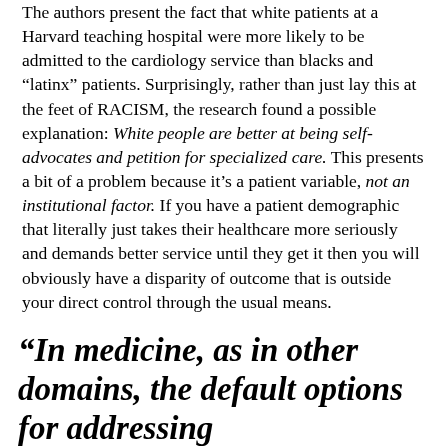The authors present the fact that white patients at a Harvard teaching hospital were more likely to be admitted to the cardiology service than blacks and "latinx" patients. Surprisingly, rather than just lay this at the feet of RACISM, the research found a possible explanation: White people are better at being self-advocates and petition for specialized care. This presents a bit of a problem because it's a patient variable, not an institutional factor. If you have a patient demographic that literally just takes their healthcare more seriously and demands better service until they get it then you will obviously have a disparity of outcome that is outside your direct control through the usual means.
“In medicine, as in other domains, the default options for addressing social inequality are often